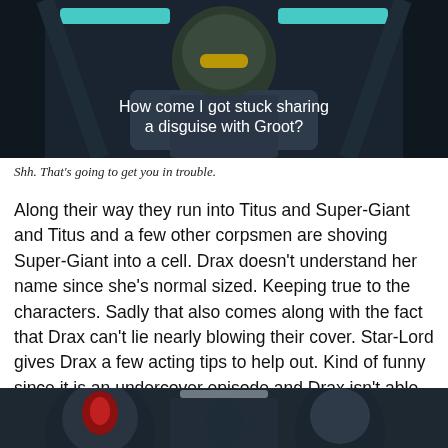[Figure (screenshot): Animated screenshot showing a character in a dark sci-fi interior with cyan ceiling lights. White subtitle text reads: How come I got stuck sharing a disguise with Groot?]
Shh. That’s going to get you in trouble.
Along their way they run into Titus and Super-Giant and Titus and a few other corpsmen are shoving Super-Giant into a cell. Drax doesn’t understand her name since she’s normal sized. Keeping true to the characters. Sadly that also comes along with the fact that Drax can’t lie nearly blowing their cover. Star-Lord gives Drax a few acting tips to help out. Kind of funny since it is an undercover episode and Drax isn’t able to be anyone but himself.
[Figure (screenshot): Animated screenshot showing characters in masks or helmets in a corridor scene.]